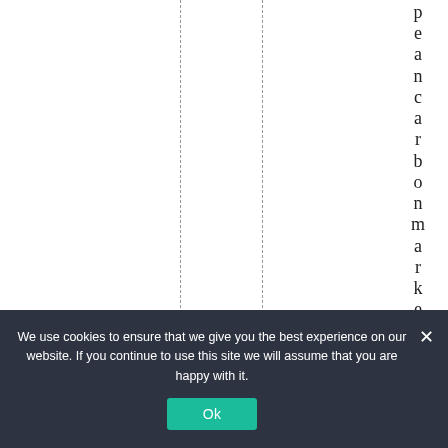p e a n c a r b o n m a r k e t , a t
We use cookies to ensure that we give you the best experience on our website. If you continue to use this site we will assume that you are happy with it.